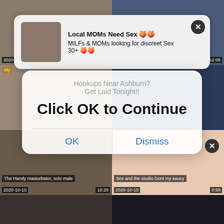[Figure (screenshot): Video thumbnail grid with adult content website, showing multiple video thumbnails with dates and durations, overlaid by ad notifications and a modal dialog]
Local MOMs Need Sex 🍑🍑
MILFs & MOMs looking for discreet Sex 30+ 🍑🍑
Hookups Near Ashburn?
Get Laid Tonight!!
Click OK to Continue
OK
Dismiss
2020-10-10
9:27
2020-10-10
52:05
2020-10-10
10:29
2020-10-10
6:58
The Handy masturbator, solo male
Sex and the studio Dont my saucy